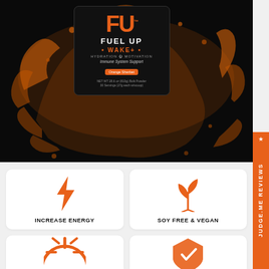[Figure (photo): Product photo of Fuel Up Wake+ drink mix package (Orange Sherbet flavor, 28.6oz/810g Bulk Powder) shown against a black background with orange liquid splash effect]
[Figure (infographic): Judge.me Reviews vertical orange sidebar tab with star icon]
[Figure (infographic): Orange lightning bolt icon representing Increase Energy feature]
INCREASE ENERGY
[Figure (infographic): Orange plant/leaf sprout icon representing Soy Free & Vegan feature]
SOY FREE & VEGAN
[Figure (infographic): Partial orange icon visible at bottom left, partially cut off]
[Figure (infographic): Partial orange icon visible at bottom right, partially cut off]